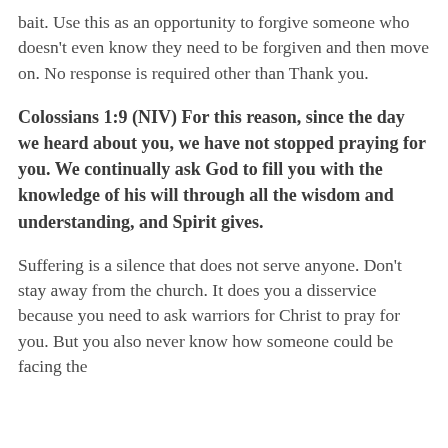bait. Use this as an opportunity to forgive someone who doesn't even know they need to be forgiven and then move on. No response is required other than Thank you.
Colossians 1:9 (NIV) For this reason, since the day we heard about you, we have not stopped praying for you. We continually ask God to fill you with the knowledge of his will through all the wisdom and understanding, and Spirit gives.
Suffering is a silence that does not serve anyone. Don't stay away from the church. It does you a disservice because you need to ask warriors for Christ to pray for you. But you also never know how someone could be facing the